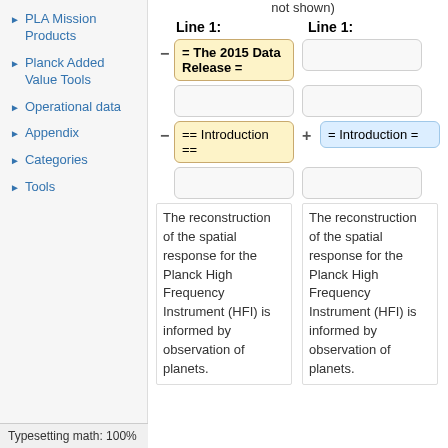PLA Mission Products
Planck Added Value Tools
Operational data
Appendix
Categories
Tools
Typesetting math: 100%
not shown)
Line 1:
Line 1:
= The 2015 Data Release =
== Introduction ==
= Introduction =
The reconstruction of the spatial response for the Planck High Frequency Instrument (HFI) is informed by observation of planets.
The reconstruction of the spatial response for the Planck High Frequency Instrument (HFI) is informed by observation of planets.